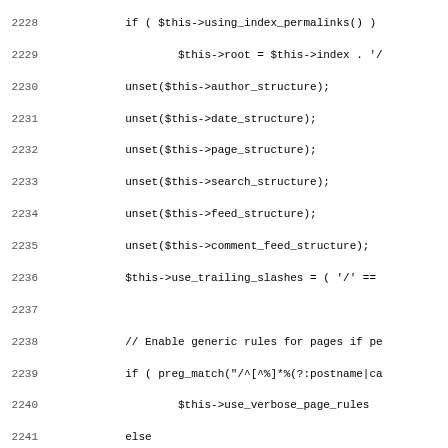[Figure (screenshot): Source code listing showing PHP code with line numbers 2228-2259. The code includes conditional logic for permalink settings, unset calls for various structures, and a PHPDoc comment block for a method that sets the main permalink structure for a blog.]